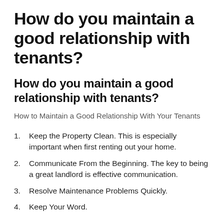How do you maintain a good relationship with tenants?
How do you maintain a good relationship with tenants?
How to Maintain a Good Relationship With Your Tenants
Keep the Property Clean. This is especially important when first renting out your home.
Communicate From the Beginning. The key to being a great landlord is effective communication.
Resolve Maintenance Problems Quickly.
Keep Your Word.